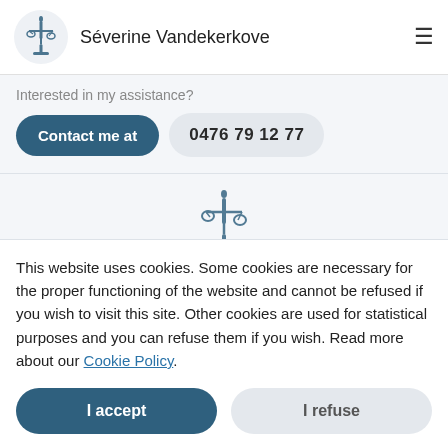[Figure (logo): Lady Justice figurine logo in dark blue, inside a light circular background]
Séverine Vandekerkove
Interested in my assistance?
Contact me at
0476 79 12 77
[Figure (logo): Lady Justice figurine in dark blue, centered]
Cookie Policy
This website uses cookies. Some cookies are necessary for the proper functioning of the website and cannot be refused if you wish to visit this site. Other cookies are used for statistical purposes and you can refuse them if you wish. Read more about our Cookie Policy.
I accept
I refuse